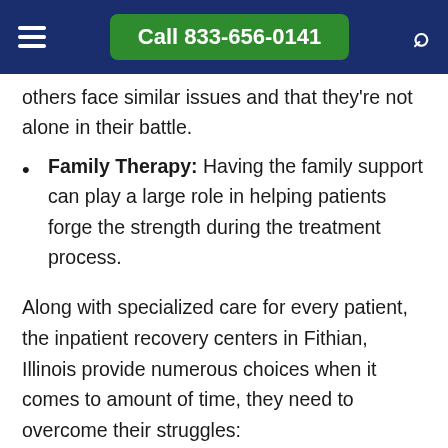Call 833-656-0141
others face similar issues and that they're not alone in their battle.
Family Therapy: Having the family support can play a large role in helping patients forge the strength during the treatment process.
Along with specialized care for every patient, the inpatient recovery centers in Fithian, Illinois provide numerous choices when it comes to amount of time, they need to overcome their struggles: